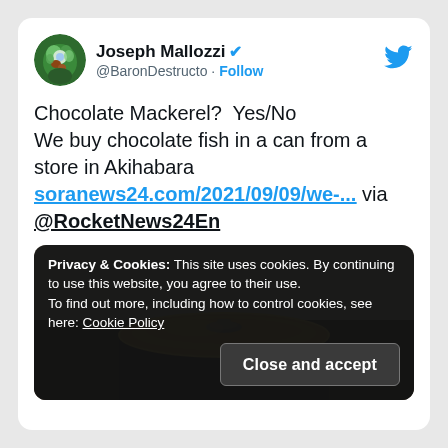[Figure (screenshot): Twitter/X profile avatar: colorful illustrated character with green/purple tones, circular crop]
Joseph Mallozzi ✓ @BaronDestructo · Follow
Chocolate Mackerel?  Yes/No
We buy chocolate fish in a can from a store in Akihabara soranews24.com/2021/09/09/we-... via @RocketNews24En
[Figure (photo): Close-up photo of a gold/yellow metal can top with a pull-ring tab, on a dark surface]
Privacy & Cookies: This site uses cookies. By continuing to use this website, you agree to their use.
To find out more, including how to control cookies, see here: Cookie Policy
Close and accept